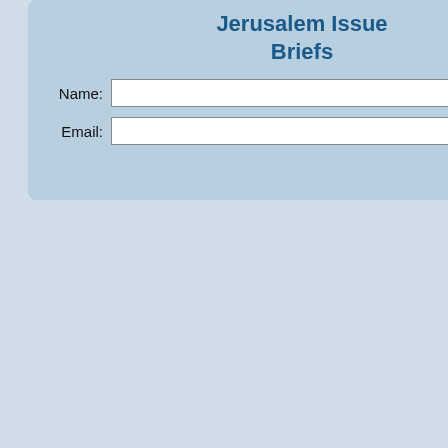Jerusalem Issue Briefs
Name:
Email:
Sign up
Iran Nuclear Deal Talks Head...
The Evidence Linking Palestinian Groups Is Well-Documented
Iran Tried to Smuggle Explosiv...
New York Times Features Vide...
Hitler Intended to Eradicate the...
The Palestinians Must Acknow...
Hopes for Nuclear Deal Fade a...
Israel Is at the Center of a New...
Names of 64,000 Shoah Victims... Vienna
Algeria Confronts Europe and t...
The Limitations of the China-Ira...
Palestinian NGO Terror Links
Refuting Palestinian Claims ab...
A Blurred Line between Civil S... NGOs Funding the PFLP
The Threat of War Is the Only W...